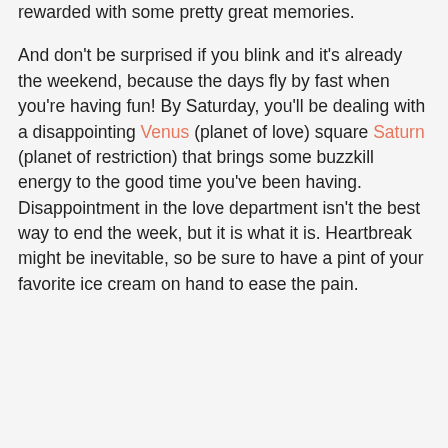rewarded with some pretty great memories.
And don't be surprised if you blink and it's already the weekend, because the days fly by fast when you're having fun! By Saturday, you'll be dealing with a disappointing Venus (planet of love) square Saturn (planet of restriction) that brings some buzzkill energy to the good time you've been having. Disappointment in the love department isn't the best way to end the week, but it is what it is. Heartbreak might be inevitable, so be sure to have a pint of your favorite ice cream on hand to ease the pain.